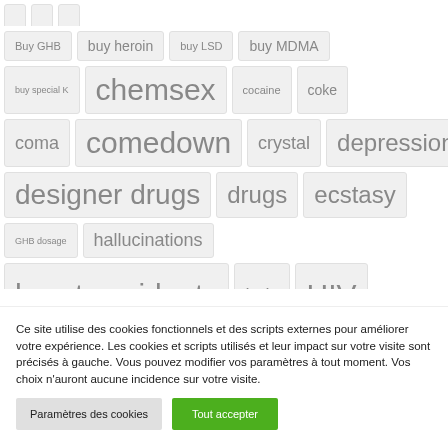[Figure (other): Tag cloud showing drug-related search terms in varying font sizes: Buy GHB, buy heroin, buy LSD, buy MDMA, buy special K, chemsex, cocaine, coke, coma, comedown, crystal, depression, designer drugs, drugs, ecstasy, GHB dosage, hallucinations, heart accidents, help, HIV (partially clipped)]
Ce site utilise des cookies fonctionnels et des scripts externes pour améliorer votre expérience. Les cookies et scripts utilisés et leur impact sur votre visite sont précisés à gauche. Vous pouvez modifier vos paramètres à tout moment. Vos choix n'auront aucune incidence sur votre visite.
Paramètres des cookies
Tout accepter